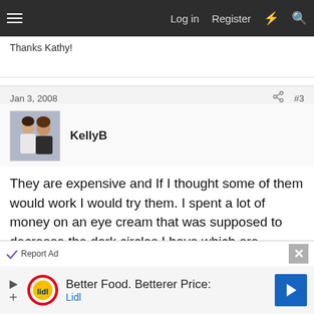Log in  Register
Thanks Kathy!
Jan 3, 2008  #3
KellyB
They are expensive and If I thought some of them would work I would try them. I spent a lot of money on an eye cream that was supposed to decrease the dark circles I have which are unfortunately genetic. I used it religiously and saw no difference. I think the Olay I was using did just as good of a job and cost me a hell of a lot less. My favorite face Lotion is still Clinique
[Figure (screenshot): Advertisement banner: Better Food. Betterer Price: Lidl]